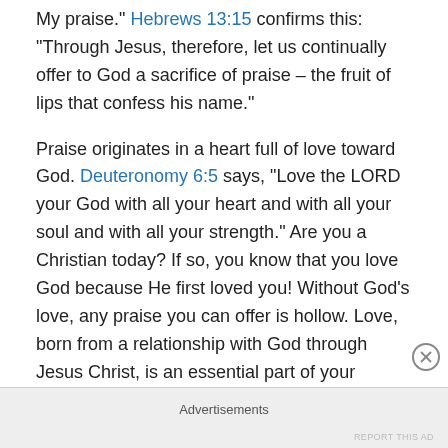My praise." Hebrews 13:15 confirms this: “Through Jesus, therefore, let us continually offer to God a sacrifice of praise – the fruit of lips that confess his name.”
Praise originates in a heart full of love toward God. Deuteronomy 6:5 says, “Love the LORD your God with all your heart and with all your soul and with all your strength.” Are you a Christian today? If so, you know that you love God because He first loved you! Without God’s love, any praise you can offer is hollow. Love, born from a relationship with God through Jesus Christ, is an essential part of your praise.
So what does “praising God” mean?  Well, God looks at
Advertisements